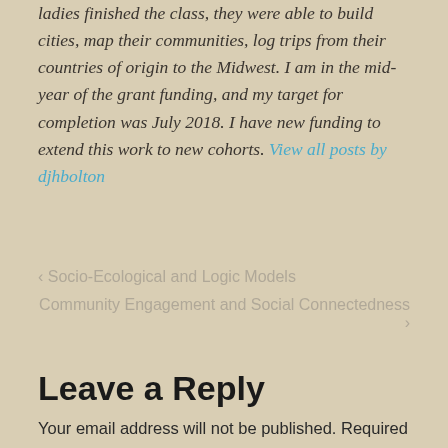ladies finished the class, they were able to build cities, map their communities, log trips from their countries of origin to the Midwest. I am in the mid-year of the grant funding, and my target for completion was July 2018. I have new funding to extend this work to new cohorts. View all posts by djhbolton
< Socio-Ecological and Logic Models
Community Engagement and Social Connectedness >
Leave a Reply
Your email address will not be published. Required fields are marked *
Comment *